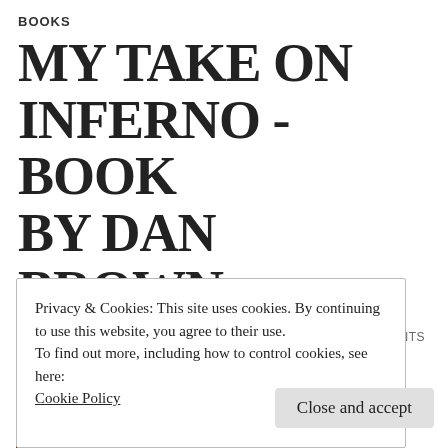BOOKS
MY TAKE ON INFERNO - BOOK BY DAN BROWN
IMAGE  NOVEMBER 5, 2013  JCISNOWJS  3 COMMENTS
Inferno – Book by Dan Brown
Privacy & Cookies: This site uses cookies. By continuing to use this website, you agree to their use.
To find out more, including how to control cookies, see here:
Cookie Policy
Close and accept